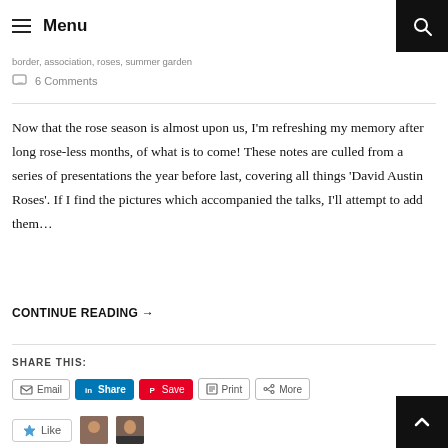Menu
border, association, roses, summer garden
6 Comments
Now that the rose season is almost upon us, I'm refreshing my memory after long rose-less months, of what is to come! These notes are culled from a series of presentations the year before last, covering all things 'David Austin Roses'. If I find the pictures which accompanied the talks, I'll attempt to add them…
CONTINUE READING →
SHARE THIS:
Email
Share
Save
Print
More
Like